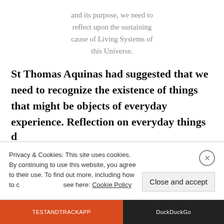and its purpose, we need to reflect upon the sustaining cause of Living Systems of this Universe.
St Thomas Aquinas had suggested that we need to recognize the existence of things that might be objects of everyday experience. Reflection on everyday things
Privacy & Cookies: This site uses cookies. By continuing to use this website, you agree to their use. To find out more, including how to control cookies, see here: Cookie Policy
[Figure (screenshot): Bottom ad bar with red section and dark DuckDuckGo section]